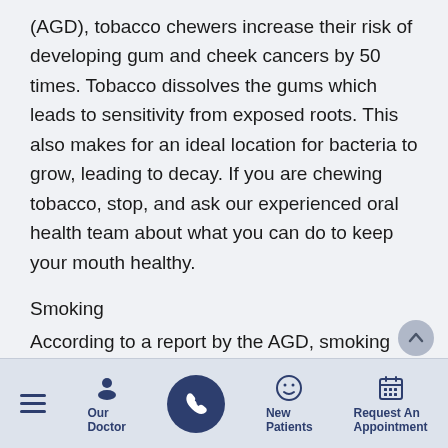(AGD), tobacco chewers increase their risk of developing gum and cheek cancers by 50 times. Tobacco dissolves the gums which leads to sensitivity from exposed roots. This also makes for an ideal location for bacteria to grow, leading to decay. If you are chewing tobacco, stop, and ask our experienced oral health team about what you can do to keep your mouth healthy.
Smoking
According to a report by the AGD, smoking one
≡  Our Doctor  [phone]  New Patients  Request An Appointment